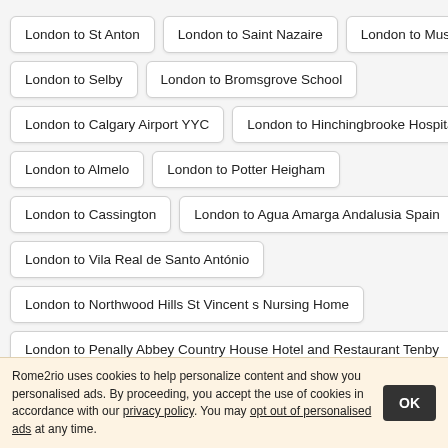London to St Anton
London to Saint Nazaire
London to Muscat
London to Selby
London to Bromsgrove School
London to Calgary Airport YYC
London to Hinchingbrooke Hospital
London to Almelo
London to Potter Heigham
London to Cassington
London to Agua Amarga Andalusia Spain
London to Vila Real de Santo António
London to Northwood Hills St Vincent s Nursing Home
London to Penally Abbey Country House Hotel and Restaurant Tenby
Rome2rio uses cookies to help personalize content and show you personalised ads. By proceeding, you accept the use of cookies in accordance with our privacy policy. You may opt out of personalised ads at any time.